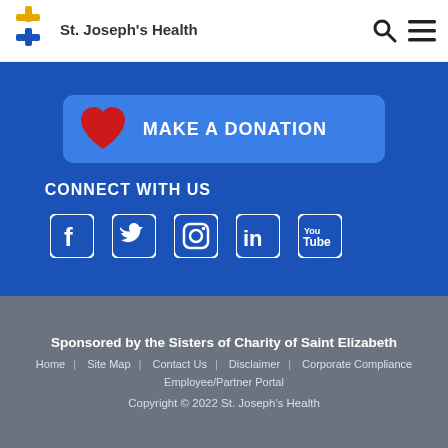[Figure (logo): St. Joseph's Health logo with gold cross icon and text]
[Figure (infographic): Make a Donation button with red heart icon on blue background]
CONNECT WITH US
[Figure (infographic): Social media icons: Facebook, Twitter, Instagram, LinkedIn, YouTube on blue rounded square backgrounds]
Sponsored by the Sisters of Charity of Saint Elizabeth
Home | Site Map | Contact Us | Disclaimer | Corporate Compliance Employee/Partner Portal
Copyright © 2022 St. Joseph's Health